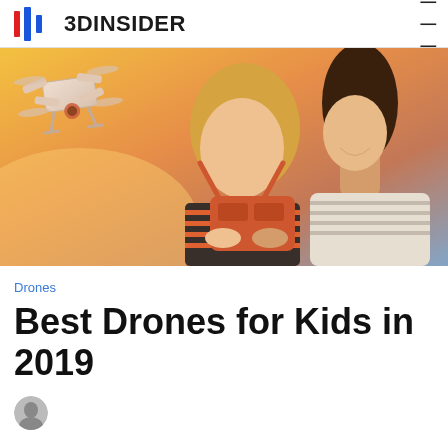3DINSIDER
[Figure (photo): A woman and a young girl smiling and looking upward while holding a drone remote controller. A white quadcopter drone is visible in the upper left. Background shows a warm sunset sky.]
Drones
Best Drones for Kids in 2019